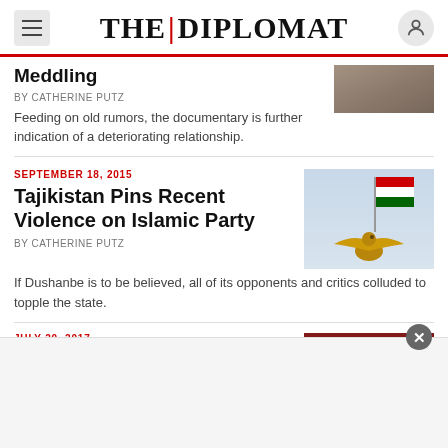THE | DIPLOMAT
Meddling
By CATHERINE PUTZ
Feeding on old rumors, the documentary is further indication of a deteriorating relationship.
SEPTEMBER 18, 2015
Tajikistan Pins Recent Violence on Islamic Party
By CATHERINE PUTZ
[Figure (photo): Tajikistan national eagle statue with flag in background]
If Dushanbe is to be believed, all of its opponents and critics colluded to topple the state.
JULY 20, 2017
[Figure (photo): Red textured image partially visible]
[Figure (other): Advertisement overlay with close button]